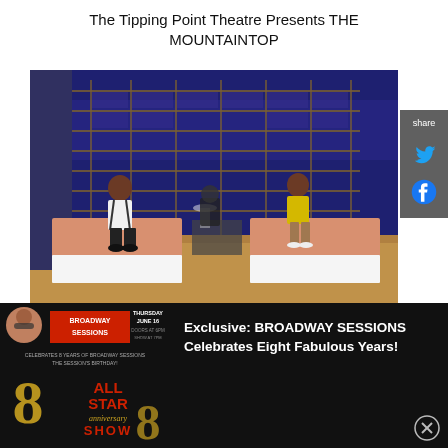The Tipping Point Theatre Presents THE MOUNTAINTOP
[Figure (photo): Stage photo of two actors sitting on separate beds with pink bedding in a hotel room set. Blue geometric wall pattern in background. Actor in white shirt and dark pants on left bed, actor in yellow dress on right bed.]
[Figure (illustration): Share sidebar with Twitter and Facebook icons on dark grey background.]
[Figure (photo): Broadway Sessions 8th anniversary advertisement showing logo, gold 8 numerals, All Star Anniversary Show text.]
Exclusive: BROADWAY SESSIONS Celebrates Eight Fabulous Years!